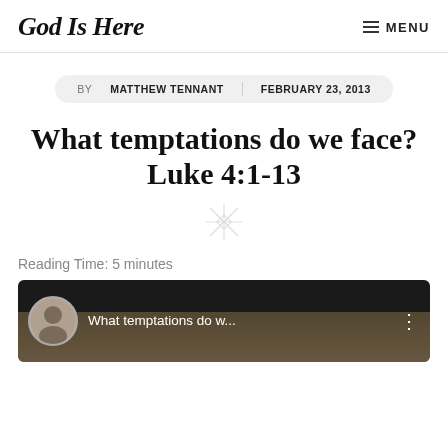God Is Here | MENU
BY MATTHEW TENNANT  FEBRUARY 23, 2013
What temptations do we face? Luke 4:1-13
Reading Time: 5 minutes
[Figure (screenshot): Video thumbnail showing a man with text 'What temptations do w...' and a vertical three-dot menu icon on a dark background]